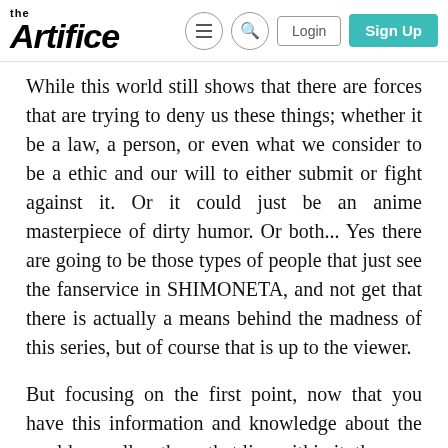The Artifice — Login | Sign Up
While this world still shows that there are forces that are trying to deny us these things; whether it be a law, a person, or even what we consider to be a ethic and our will to either submit or fight against it. Or it could just be an anime masterpiece of dirty humor. Or both... Yes there are going to be those types of people that just see the fanservice in SHIMONETA, and not get that there is actually a means behind the madness of this series, but of course that is up to the viewer.
But focusing on the first point, now that you have this information and knowledge about the world as well as those that live within it, the